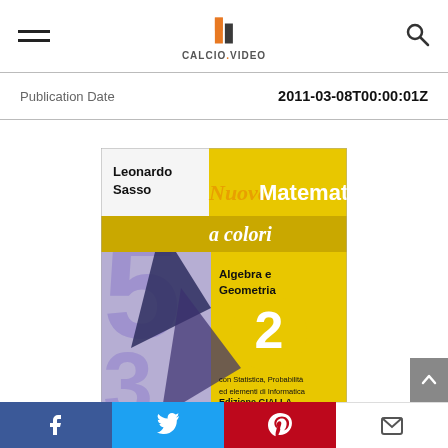CALCIO.VIDEO
| Publication Date |  |
| --- | --- |
| Publication Date | 2011-03-08T00:00:01Z |
[Figure (photo): Book cover of 'Nuova Matematica a colori' by Leonardo Sasso, Algebra e Geometria 2, Edizione GIALLA per la riforma. Yellow and white cover with purple geometric shapes and numbers in the background.]
Facebook  Twitter  Pinterest  Email